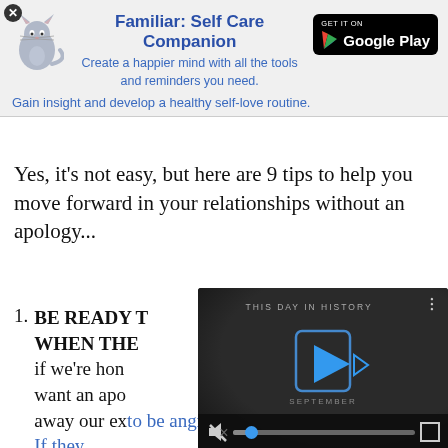[Figure (logo): Close button X icon in top left corner]
[Figure (infographic): Ad banner for Familiar: Self Care Companion app with cat illustration and Google Play button. Title: Familiar: Self Care Companion. Subtitle: Create a happier mind with all the tools and reminders you need. Tagline: Gain insight and develop a healthy self-love routine.]
Yes, it’s not easy, but here are 9 tips to help you move forward in your relationships without an apology...
BE READY TO FORGIVE YOURSELF WHEN THE... if we’re hon... want an apo... away our ex... to be angry. If they apologize and you don’t accept it, the...
[Figure (screenshot): Video player overlay showing 'THIS DAY IN HISTORY' with blue play button icon, September date label, mute button, progress bar with blue dot, and fullscreen button on dark background.]